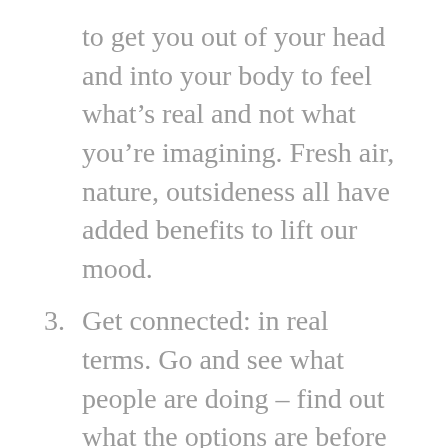to get you out of your head and into your body to feel what’s real and not what you’re imagining. Fresh air, nature, outsideness all have added benefits to lift our mood.
3. Get connected: in real terms. Go and see what people are doing – find out what the options are before you tell yourself “I could never…”. This could be taking the time to talk to your colleagues, or go into a cafe and notice what people are doing (I’m writing this in the cafe where my usual quiet corner has been turned into a co-working